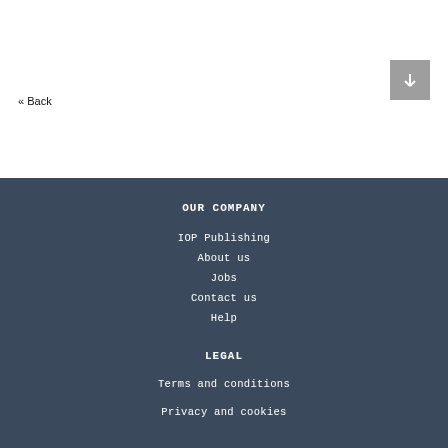« Back
OUR COMPANY
IOP Publishing
About us
Jobs
Contact us
Help
LEGAL
Terms and conditions
Privacy and cookies